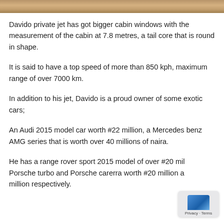[Figure (photo): Partial photo strip at the top of the page showing a brown/tan textured surface.]
Davido private jet has got bigger cabin windows with the measurement of the cabin at 7.8 metres, a tail core that is round in shape.
It is said to have a top speed of more than 850 kph, maximum range of over 7000 km.
In addition to his jet, Davido is a proud owner of some exotic cars;
An Audi 2015 model car worth #22 million, a Mercedes benz AMG series that is worth over 40 millions of naira.
He has a range rover sport 2015 model of over #20 mil… Porsche turbo and Porsche carerra worth #20 million a… million respectively.
[Figure (other): Small overlay badge in the bottom-right corner with a blue icon and 'Privacy · Terms' text.]